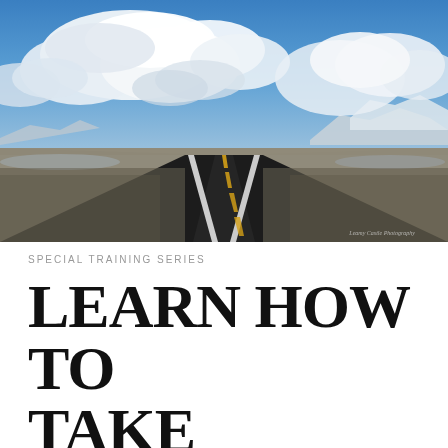[Figure (photo): A long straight desert highway stretching to the horizon under a dramatic blue sky with large white clouds. Snow-capped mountains visible in the far distance. The road has yellow center lines and white edge lines. Flat scrubby desert terrain on both sides. Watermark in bottom right reads 'Leamy Castle Photography'.]
SPECIAL TRAINING SERIES
LEARN HOW TO TAKE PHOTOS